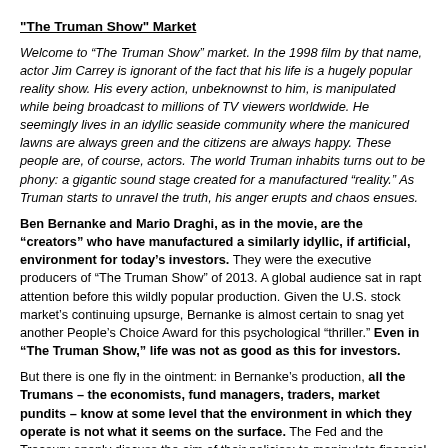"The Truman Show" Market
Welcome to “The Truman Show” market. In the 1998 film by that name, actor Jim Carrey is ignorant of the fact that his life is a hugely popular reality show. His every action, unbeknownst to him, is manipulated while being broadcast to millions of TV viewers worldwide. He seemingly lives in an idyllic seaside community where the manicured lawns are always green and the citizens are always happy. These people are, of course, actors. The world Truman inhabits turns out to be phony: a gigantic sound stage created for a manufactured “reality.” As Truman starts to unravel the truth, his anger erupts and chaos ensues.
Ben Bernanke and Mario Draghi, as in the movie, are the “creators” who have manufactured a similarly idyllic, if artificial, environment for today’s investors. They were the executive producers of “The Truman Show” of 2013. A global audience sat in rapt attention before this wildly popular production. Given the U.S. stock market’s continuing upsurge, Bernanke is almost certain to snag yet another People’s Choice Award for this psychological “thriller.” Even in “The Truman Show,” life was not as good as this for investors.
But there is one fly in the ointment: in Bernanke’s production, all the Trumans – the economists, fund managers, traders, market pundits – know at some level that the environment in which they operate is not what it seems on the surface. The Fed and the Treasury openly discuss the aim of their policies: to manipulate financial markets higher.